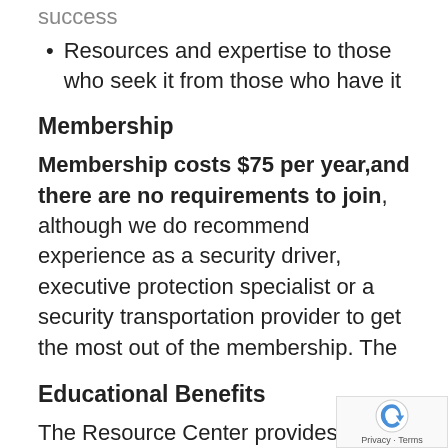success
Resources and expertise to those who seek it from those who have it
Membership
Membership costs $75 per year,and there are no requirements to join, although we do recommend experience as a security driver, executive protection specialist or a security transportation provider to get the most out of the membership. The
Educational Benefits
The Resource Center provides a constan